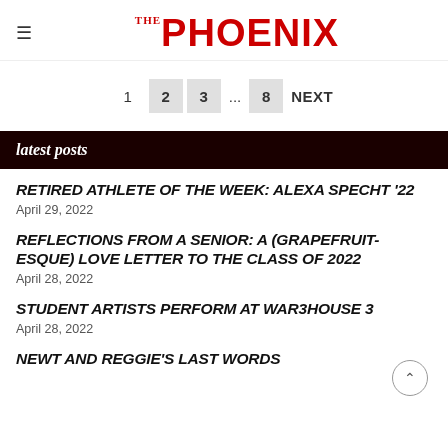THE PHOENIX
1  2  3  ...  8  NEXT
latest posts
RETIRED ATHLETE OF THE WEEK: ALEXA SPECHT '22
April 29, 2022
REFLECTIONS FROM A SENIOR: A (GRAPEFRUIT-ESQUE) LOVE LETTER TO THE CLASS OF 2022
April 28, 2022
STUDENT ARTISTS PERFORM AT WAR3HOUSE 3
April 28, 2022
NEWT AND REGGIE'S LAST WORDS